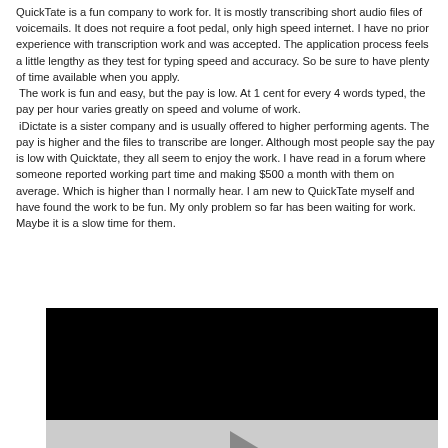QuickTate is a fun company to work for. It is mostly transcribing short audio files of voicemails. It does not require a foot pedal, only high speed internet. I have no prior experience with transcription work and was accepted. The application process feels a little lengthy as they test for typing speed and accuracy. So be sure to have plenty of time available when you apply.
 The work is fun and easy, but the pay is low. At 1 cent for every 4 words typed, the pay per hour varies greatly on speed and volume of work.
 iDictate is a sister company and is usually offered to higher performing agents. The pay is higher and the files to transcribe are longer. Although most people say the pay is low with Quicktate, they all seem to enjoy the work. I have read in a forum where someone reported working part time and making $500 a month with them on average. Which is higher than I normally hear. I am new to QuickTate myself and have found the work to be fun. My only problem so far has been waiting for work. Maybe it is a slow time for them.
[Figure (other): Embedded video player with black screen area and grey controls bar with a play button triangle]